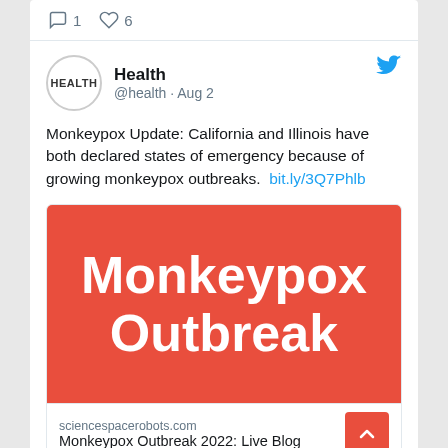1  6
Health @health · Aug 2
Monkeypox Update: California and Illinois have both declared states of emergency because of growing monkeypox outbreaks.  bit.ly/3Q7Phlb
[Figure (illustration): Red banner image with white bold text reading 'Monkeypox Outbreak']
sciencespacerobots.com
Monkeypox Outbreak 2022: Live Blog